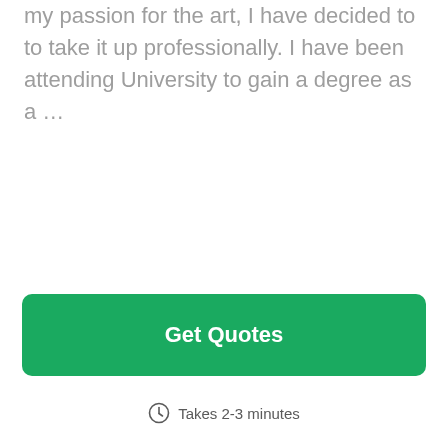my passion for the art, I have decided to to take it up professionally. I have been attending University to gain a degree as a ...
[Figure (other): Green 'Get Quotes' call-to-action button]
Takes 2-3 minutes